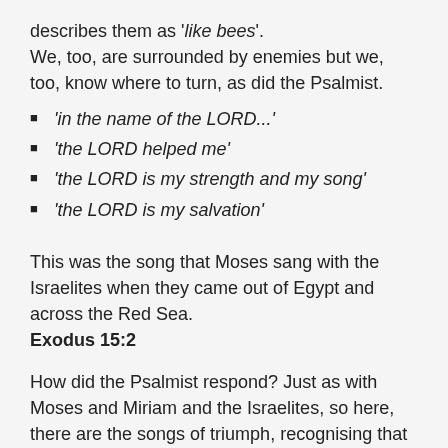describes them as 'like bees'. We, too, are surrounded by enemies but we, too, know where to turn, as did the Psalmist.
'in the name of the LORD...'
'the LORD helped me'
'the LORD is my strength and my song'
'the LORD is my salvation'
This was the song that Moses sang with the Israelites when they came out of Egypt and across the Red Sea. Exodus 15:2
How did the Psalmist respond? Just as with Moses and Miriam and the Israelites, so here, there are the songs of triumph, recognising that it is the LORD who has brought about this victory.
'The LORD's right hand has done mighty things' – notice